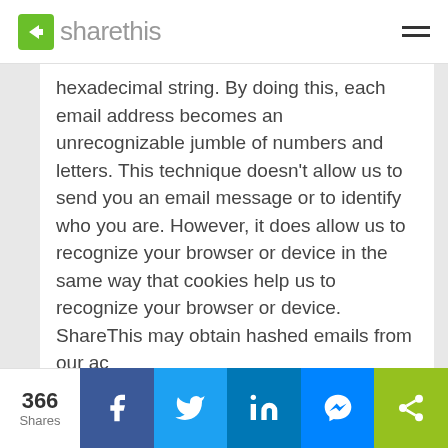sharethis
hexadecimal string. By doing this, each email address becomes an unrecognizable jumble of numbers and letters. This technique doesn't allow us to send you an email message or to identify who you are. However, it does allow us to recognize your browser or device in the same way that cookies help us to recognize your browser or device. ShareThis may obtain hashed emails from our ac
366 Shares — Facebook, Twitter, LinkedIn, Messenger, ShareThis